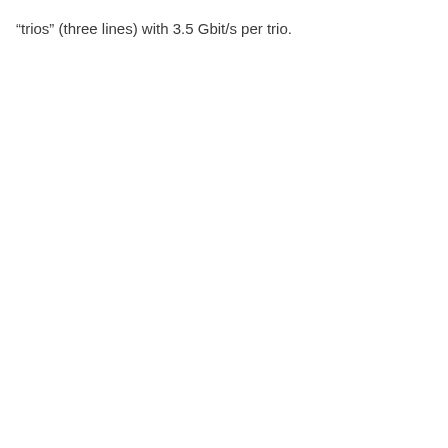“trios” (three lines) with 3.5 Gbit/s per trio.